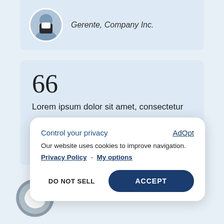[Figure (photo): Profile photo of a person in business attire, circular avatar crop, with italic text 'Gerente, Company Inc.' beside it on a light blue card]
Gerente, Company Inc.
66
Lorem ipsum dolor sit amet, consectetur
Control your privacy
AdOpt
Our website uses cookies to improve navigation.
Privacy Policy  -  My options
DO NOT SELL
ACCEPT
[Figure (logo): Microsoft Edge browser logo — circular grey and white 'e' icon]